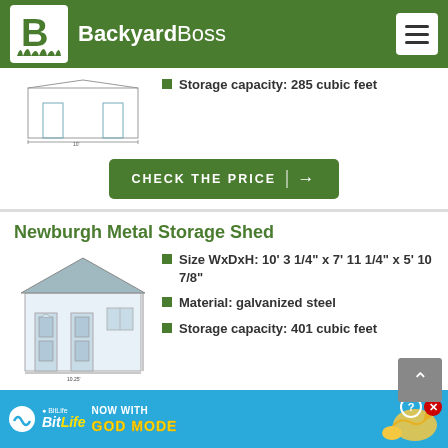BackyardBoss
Storage capacity: 285 cubic feet
CHECK THE PRICE →
Newburgh Metal Storage Shed
Size WxDxH: 10' 3 1/4" x 7' 11 1/4" x 5' 10 7/8"
Material: galvanized steel
Storage capacity: 401 cubic feet